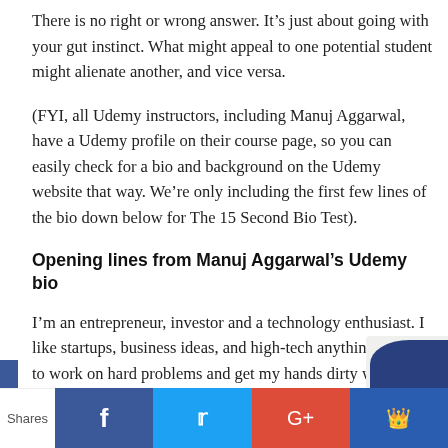There is no right or wrong answer. It's just about going with your gut instinct. What might appeal to one potential student might alienate another, and vice versa.
(FYI, all Udemy instructors, including Manuj Aggarwal, have a Udemy profile on their course page, so you can easily check for a bio and background on the Udemy website that way. We're only including the first few lines of the bio down below for The 15 Second Bio Test).
Opening lines from Manuj Aggarwal's Udemy bio
I'm an entrepreneur, investor and a technology enthusiast. I like startups, business ideas, and high-tech anything. I like to work on hard problems and get my hands dirty with cutting edge technologies. In the last few years, I've been a business owner, technical architect, CTO, coder, startup consultant, and more.
Shares | Facebook | Twitter | Google+ | Crown